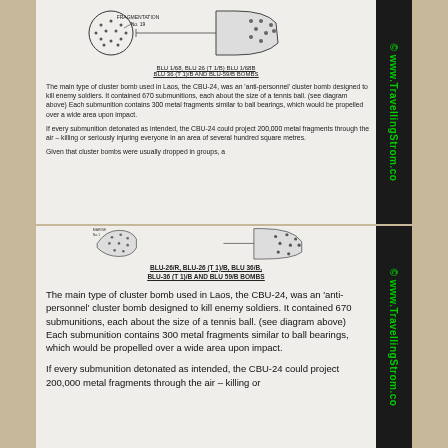[Figure (illustration): Technical diagram of cluster bomb submunition (BLU-26/B, BLU-26 (T 1)/B, BLU-36/B, BLU-36 (T 1)/B AND BLU-59/B BOMBS) showing fragmentation ball with label FRAGMENTATION No. 19]
BLU-26/B, BLU-26 (T 1)/B, BLU-36/B, BLU-36 (T 1)/B AND BLU-59/B BOMBS
The main type of cluster bomb used in Laos, the CBU-24, was an 'anti-personnel' cluster bomb designed to kill enemy soldiers. It contained 670  submunitions, each about the size of a tennis ball. (see diagram above) Each submunition contains 300 metal fragments similar to ball bearings, which would be propelled over a wide area upon impact.
If every submunition detonated as intended, the CBU-24 could project 200,000 metal fragments through the air – killing or seriously injuring everyone in an area of several hundred square metres.
Given that cluster bombs were usually dropped in groups, a
[Figure (illustration): Technical diagram of cluster bomb submunition showing fragmentation ball, closer view]
BLU-26/R, BLU-26 (T 1)/B, BLU 36/B, BLU-36 (T 1)/B AND BLU 59/B BOMBS
The main type of cluster bomb used in Laos, the CBU-24, was an 'anti-personnel' cluster bomb designed to kill enemy soldiers. It contained 670  submunitions, each about the size of a tennis ball. (see diagram above) Each submunition contains 300 metal fragments similar to ball bearings, which would be propelled over a wide area upon impact.
If every submunition detonated as intended, the CBU-24 could project 200,000 metal fragments through the air – killing or